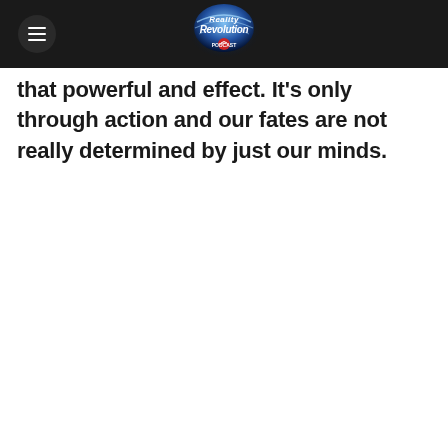Reality Revolution Podcast
that powerful and effect. It’s only through action and our fates are not really determined by just our minds.